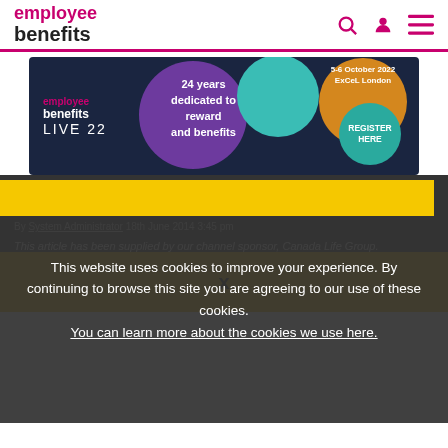employee benefits
[Figure (infographic): Employee Benefits Live 22 banner advertisement: dark navy background with coloured circles (purple, teal, orange/green), text '24 years dedicated to reward and benefits', '5-6 October 2022 ExCeL London', 'REGISTER HERE']
Much more than a financial benefit
By System Administrator 18th June 2014 3:45 pm
This article has been supplied by our channel sponsor, Canada Life Group.
This website uses cookies to improve your experience. By continuing to browse this site you are agreeing to our use of these cookies. You can learn more about the cookies we use here.